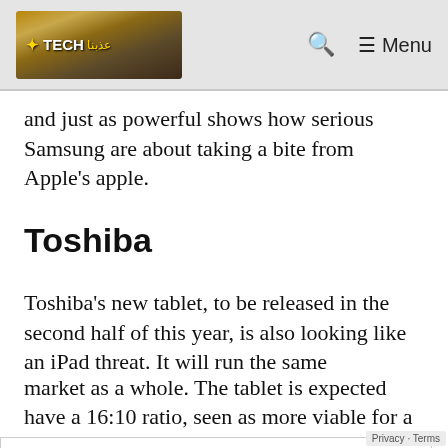Tech (logo) — Search icon — ☰ Menu
and just as powerful shows how serious Samsung are about taking a bite from Apple's apple.
Toshiba
Toshiba's new tablet, to be released in the second half of this year, is also looking like an iPad threat. It will run the same
Privacy & Cookies: This site uses cookies. By continuing to use this website, you agree to their use.
To find out more, including how to control cookies, see here:
Cookie Policy
[Close and accept button]
market as a whole. The tablet is expected have a 16:10 ratio, seen as more viable for a
Privacy · Terms